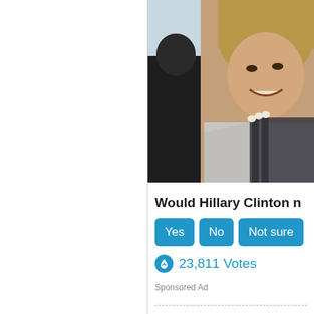[Figure (photo): Cropped photo of a woman (Hillary Clinton) smiling, wearing a patterned jacket and pearl necklace, with a chandelier in the background and a dark-suited figure partially visible on the left.]
Would Hillary Clinton n
Yes  No  Not sure
23,811 Votes
Sponsored Ad
Comments